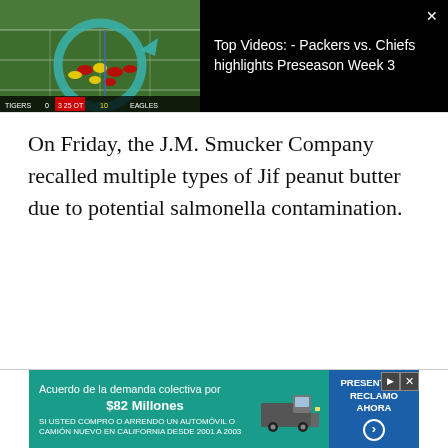[Figure (screenshot): Video thumbnail showing a football game (Packers vs. Chiefs) on a green field with players, overlaid with a teal circular replay arrow icon and scoreboard at the bottom. The right side shows a black panel with the video title.]
Top Videos: - Packers vs. Chiefs highlights Preseason Week 3
On Friday, the J.M. Smucker Company recalled multiple types of Jif peanut butter due to potential salmonella contamination.
[Figure (screenshot): Advertisement banner: 'Acuerdo de la demanda colectiva por $82 Millones. SI USTED COMPRO O ARRENDO UN AUTOMÓVIL O CAMIÓN NUEVO EN CALIFORNIA DESDE 2001 A 2003'. Shows a truck image and a blue CTA button 'PRESENTE SU RECLAMO AHORA'.]